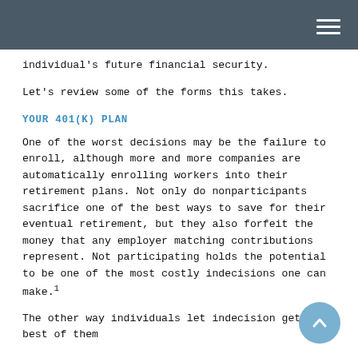individual's future financial security.
Let's review some of the forms this takes.
YOUR 401(K) PLAN
One of the worst decisions may be the failure to enroll, although more and more companies are automatically enrolling workers into their retirement plans. Not only do nonparticipants sacrifice one of the best ways to save for their eventual retirement, but they also forfeit the money that any employer matching contributions represent. Not participating holds the potential to be one of the most costly indecisions one can make.¹
The other way individuals let indecision get the best of them